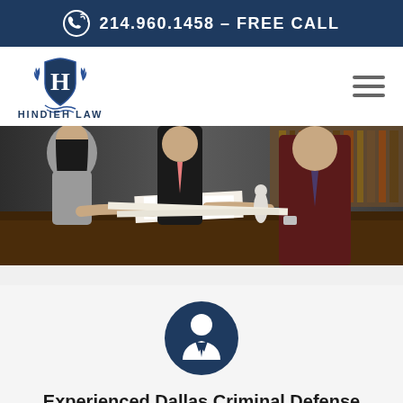214.960.1458 – FREE CALL
[Figure (logo): Hindieh Law PLLC logo with shield, laurel wreath and letter H]
[Figure (photo): Attorneys sitting around a conference table reviewing documents in a law office with bookshelves]
[Figure (illustration): Dark blue circle icon with white attorney/person silhouette in suit]
Experienced Dallas Criminal Defense Attorney